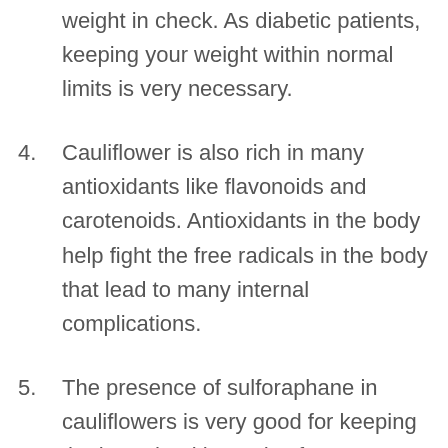weight in check. As diabetic patients, keeping your weight within normal limits is very necessary.
4. Cauliflower is also rich in many antioxidants like flavonoids and carotenoids. Antioxidants in the body help fight the free radicals in the body that lead to many internal complications.
5. The presence of sulforaphane in cauliflowers is very good for keeping the heart healthy and safe.
Moreover, cauliflowers are free of